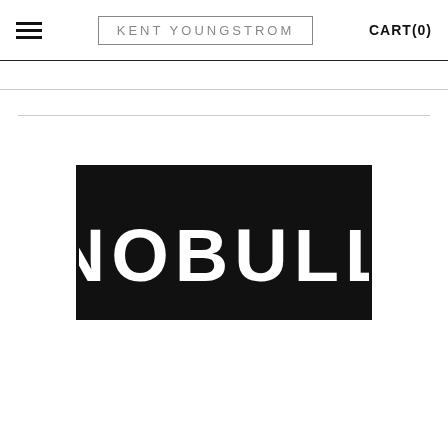≡  KENT YOUNGSTROM  CART(0)
[Figure (logo): NOBULL brand logo — white bold uppercase text 'NOBULL' on a solid black rectangular background]